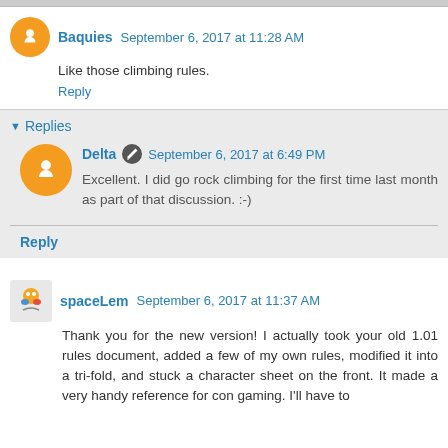Baquies September 6, 2017 at 11:28 AM
Like those climbing rules.
Reply
Replies
Delta September 6, 2017 at 6:49 PM
Excellent. I did go rock climbing for the first time last month as part of that discussion. :-)
Reply
spaceLem September 6, 2017 at 11:37 AM
Thank you for the new version! I actually took your old 1.01 rules document, added a few of my own rules, modified it into a tri-fold, and stuck a character sheet on the front. It made a very handy reference for con gaming. I'll have to